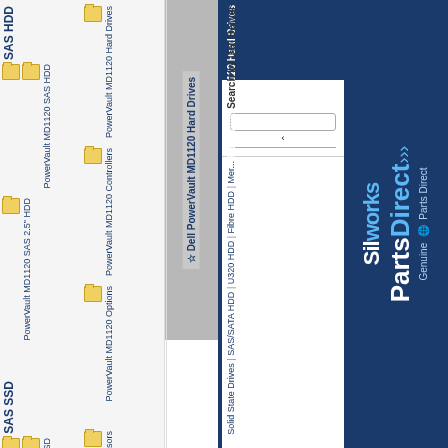SilWorks PartsDirect | Genuine Parts Direct
Home: Dell: PowerVault MD1120 Hard Drives
Search by Dell Server
Solid State Drives | SAS/SATA HDD | U320 HDD | Fibre HDD | Mer...
Search by Part Number
Dell PowerVault MD1120 Hard Drives
PowerVault MD1120 Hard Drives
PowerVault MD1120 Controllers
PowerVault MD1120 Options
PowerVault MD1120 Processors
PowerVault MD1120 Networking
All PowerVault Options
SAS HDD
PowerVault MD1120 SAS HDD
PowerVault MD1120 SAS 2.5" HDD
SAS SSD
PowerVault MD1120 SAS SSD
PowerVault MD1120 SAS 2.5" SSD